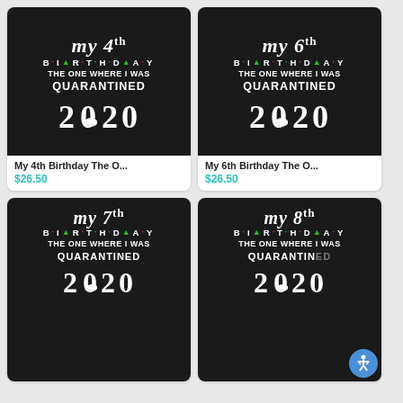[Figure (illustration): Product image: black background card with text 'my 4TH BIRTHDAY THE ONE WHERE I WAS QUARANTINED 2020' with face mask on the 0]
My 4th Birthday The O...
$26.50
[Figure (illustration): Product image: black background card with text 'my 6TH BIRTHDAY THE ONE WHERE I WAS QUARANTINED 2020' with face mask on the 0]
My 6th Birthday The O...
$26.50
[Figure (illustration): Product image: black background card with text 'my 7TH BIRTHDAY THE ONE WHERE I WAS QUARANTINED 2020' partially visible]
[Figure (illustration): Product image: black background card with text 'my 8TH BIRTHDAY THE ONE WHERE I WAS QUARANTINED 2020' partially visible with accessibility icon]